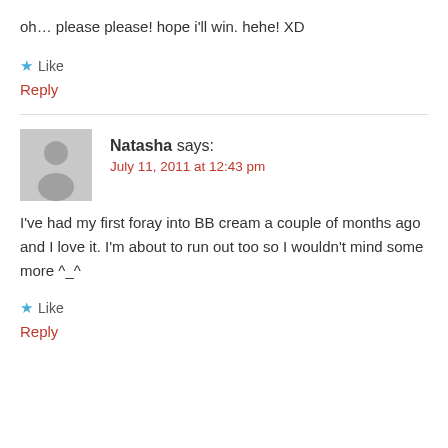oh… please please! hope i'll win. hehe! XD
★ Like
Reply
Natasha says: July 11, 2011 at 12:43 pm
I've had my first foray into BB cream a couple of months ago and I love it. I'm about to run out too so I wouldn't mind some more ^_^
★ Like
Reply